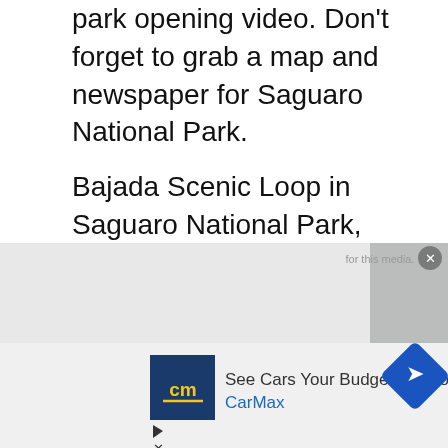park opening video. Don't forget to grab a map and newspaper for Saguaro National Park.
Bajada Scenic Loop in Saguaro National Park, Arizona Drive the Bajada Scenic Loop in Saguaro National Park, Arizona. The Bajada Scenic Loop is without a doubt the most picturesque of the few routes that go through the Tucson Mountain District. This is a 5-mile unpaved, graded gravel road that circles around the district's core (8 kilometers). On this route, you don't need four-wheel drive or high clearance—a normal
[Figure (other): Advertisement overlay showing CarMax ad with CM logo, 'See Cars Your Budget Will Love' text and CarMax branding, plus a navigation/map icon. Also shows a media placeholder watermark with SAGUARO text and an X button.]